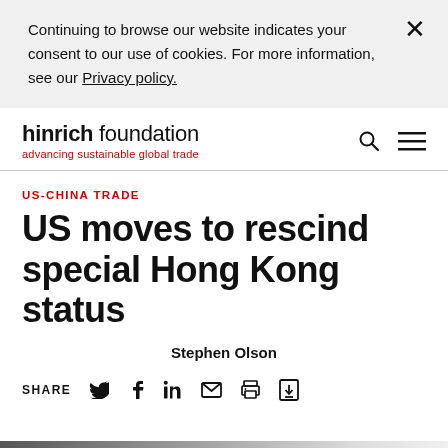Continuing to browse our website indicates your consent to our use of cookies. For more information, see our Privacy policy.
hinrich foundation — advancing sustainable global trade
US-CHINA TRADE
US moves to rescind special Hong Kong status
Stephen Olson
SHARE